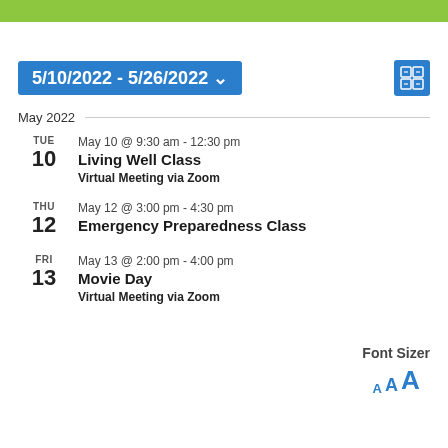5/10/2022 - 5/26/2022
May 2022
TUE 10 | May 10 @ 9:30 am - 12:30 pm | Living Well Class | Virtual Meeting via Zoom
THU 12 | May 12 @ 3:00 pm - 4:30 pm | Emergency Preparedness Class
FRI 13 | May 13 @ 2:00 pm - 4:00 pm | Movie Day | Virtual Meeting via Zoom
Font Sizer A A A